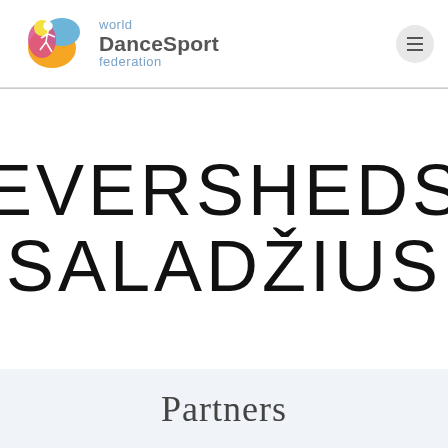[Figure (logo): World DanceSport Federation logo with abstract dancer figures in orange, blue, and pink, alongside text 'world DanceSport federation']
EVERSHEDS SALADŽIUS
Partners